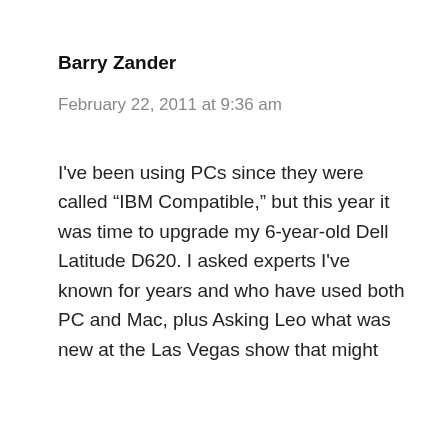Barry Zander
February 22, 2011 at 9:36 am
I've been using PCs since they were called “IBM Compatible,” but this year it was time to upgrade my 6-year-old Dell Latitude D620. I asked experts I've known for years and who have used both PC and Mac, plus Asking Leo what was new at the Las Vegas show that might